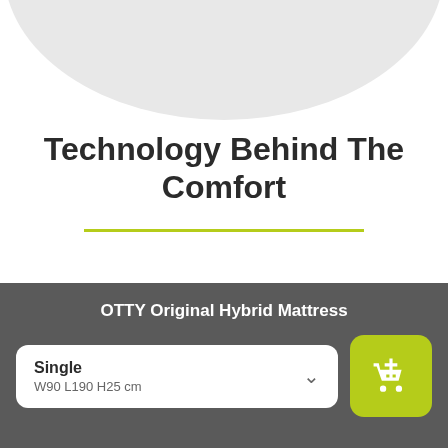[Figure (illustration): Light gray circular arc shape at the top of the page, representing a product image background]
Technology Behind The Comfort
The OTTY Original won numerous awards and has been praised by thousands of
OTTY Original Hybrid Mattress
Single
W90 L190 H25 cm